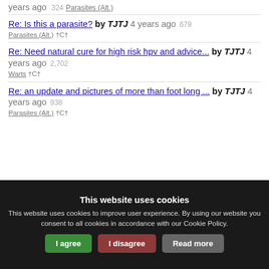years ago  324  Parasites (Alt.)
Re: Is this a parasite? by TJTJ  4 years ago  679  Parasites (Alt.)  †C†
Re: Need natural cure for high risk hpv and advice... by TJTJ  4 years ago  2,702  Warts  †C†
Re: an update and pictures of more than foot long ... by TJTJ  4 years ago  938  Parasites (Alt.)  †C†
This website uses cookies
This website uses cookies to improve user experience. By using our website you consent to all cookies in accordance with our Cookie Policy.
I agree  I disagree  Read more